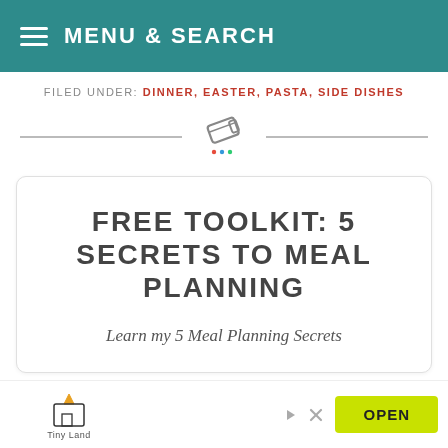MENU & SEARCH
FILED UNDER: DINNER, EASTER, PASTA, SIDE DISHES
[Figure (illustration): Decorative horizontal divider with a pencil/eraser icon in the center flanked by two horizontal lines]
FREE TOOLKIT: 5 SECRETS TO MEAL PLANNING
Learn my 5 Meal Planning Secrets
[Figure (logo): Tiny Land advertisement banner with logo on left, play and close icons, and green OPEN button on right]